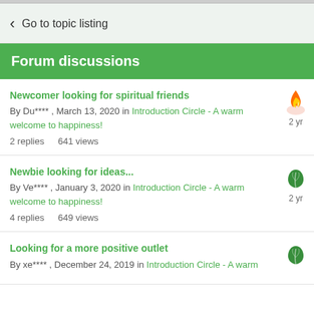Go to topic listing
Forum discussions
Newcomer looking for spiritual friends
By Du**** , March 13, 2020 in Introduction Circle - A warm welcome to happiness!
2 replies    641 views
Newbie looking for ideas...
By Ve**** , January 3, 2020 in Introduction Circle - A warm welcome to happiness!
4 replies    649 views
Looking for a more positive outlet
By xe**** , December 24, 2019 in Introduction Circle - A warm